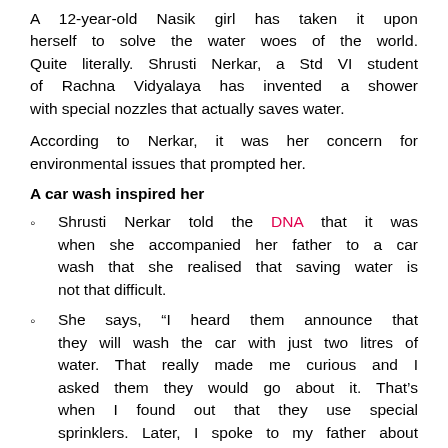A 12-year-old Nasik girl has taken it upon herself to solve the water woes of the world. Quite literally. Shrusti Nerkar, a Std VI student of Rachna Vidyalaya has invented a shower with special nozzles that actually saves water.
According to Nerkar, it was her concern for environmental issues that prompted her.
A car wash inspired her
Shrusti Nerkar told the DNA that it was when she accompanied her father to a car wash that she realised that saving water is not that difficult.
She says, “I heard them announce that they will wash the car with just two litres of water. That really made me curious and I asked them they would go about it. That’s when I found out that they use special sprinklers. Later, I spoke to my father about whether we could use such sprinklers in our shower as well.”